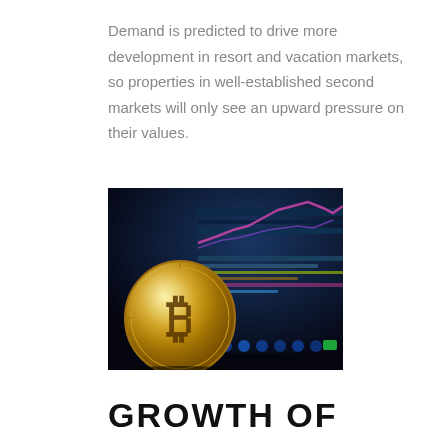Demand is predicted to drive more development in resort and vacation markets, so properties in well-established second markets will only see an upward pressure on their values.
[Figure (photo): A gold Bitcoin coin standing upright in front of a blurred financial trading chart display screen showing blue and pink candlestick charts and market data.]
GROWTH OF